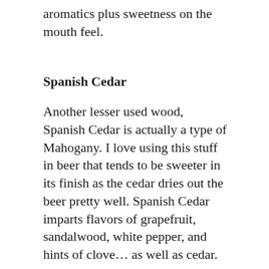aromatics plus sweetness on the mouth feel.
Spanish Cedar
Another lesser used wood, Spanish Cedar is actually a type of Mahogany. I love using this stuff in beer that tends to be sweeter in its finish as the cedar dries out the beer pretty well. Spanish Cedar imparts flavors of grapefruit, sandalwood, white pepper, and hints of clove… as well as cedar.
Special Mentions